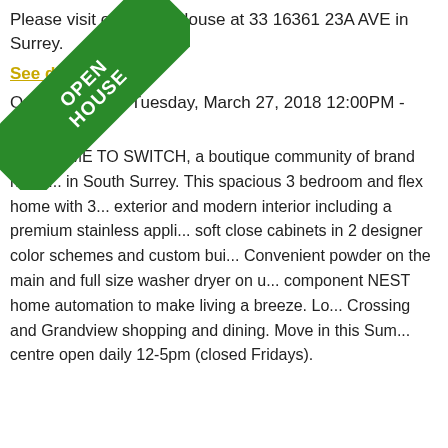Please visit our Open House at 33 16361 23A AVE in Surrey.
See details here
Open house on Tuesday, March 27, 2018 12:00PM - 5:00PM
WELCOME TO SWITCH, a boutique community of brand new townhomes in South Surrey. This spacious 3 bedroom and flex home with 3 exterior and modern interior including a premium stainless appliance package, soft close cabinets in 2 designer color schemes and custom built-ins. Convenient powder on the main and full size washer dryer on upper floor. 5 component NEST home automation to make living a breeze. Located near Morgan Crossing and Grandview shopping and dining. Move in this Summer! Sales centre open daily 12-5pm (closed Fridays).
[Figure (other): Green diagonal 'OPEN HOUSE' banner ribbon in top-left corner]